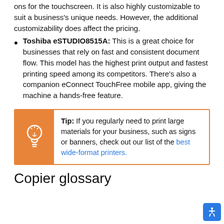ons for the touchscreen. It is also highly customizable to suit a business's unique needs. However, the additional customizability does affect the pricing.
Toshiba eSTUDIO8515A: This is a great choice for businesses that rely on fast and consistent document flow. This model has the highest print output and fastest printing speed among its competitors. There's also a companion eConnect TouchFree mobile app, giving the machine a hands-free feature.
Tip: If you regularly need to print large materials for your business, such as signs or banners, check out our list of the best wide-format printers.
Copier glossary